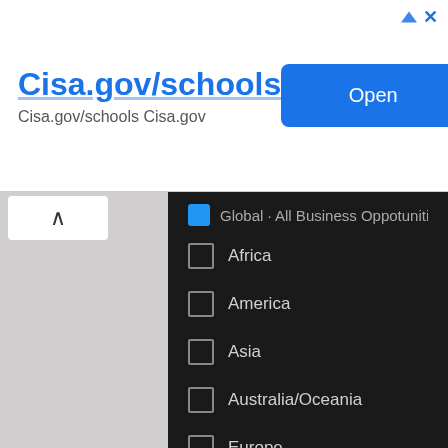[Figure (screenshot): Ad banner for Cisa.gov/schools with blue Open button and ad icons]
Cisa.gov/schools
Cisa.gov/schools Cisa.gov
Africa
America
Asia
Australia/Oceania
Europe
Subscribe!
Follow Us On Social Media
[Figure (logo): Facebook logo circle icon]